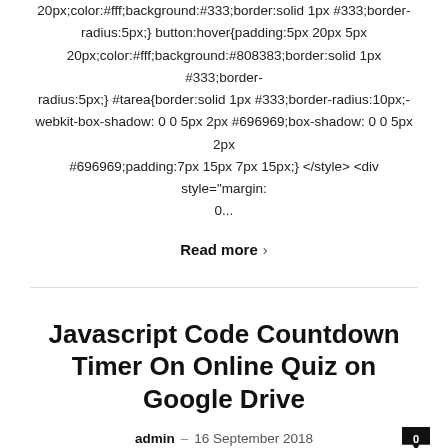20px;color:#fff;background:#333;border:solid 1px #333;border-radius:5px;} button:hover{padding:5px 20px 5px 20px;color:#fff;background:#808383;border:solid 1px #333;border-radius:5px;} #tarea{border:solid 1px #333;border-radius:10px;-webkit-box-shadow: 0 0 5px 2px #696969;box-shadow: 0 0 5px 2px #696969;padding:7px 15px 7px 15px;} </style> <div style="margin: 0...
Read more >
Javascript Code Countdown Timer On Online Quiz on Google Drive
admin – 16 September 2018